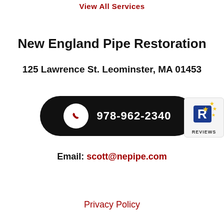View All Services
New England Pipe Restoration
125 Lawrence St. Leominster, MA 01453
978-962-2340
[Figure (logo): Reviews badge with star logo and REVIEWS text]
Email: scott@nepipe.com
Privacy Policy